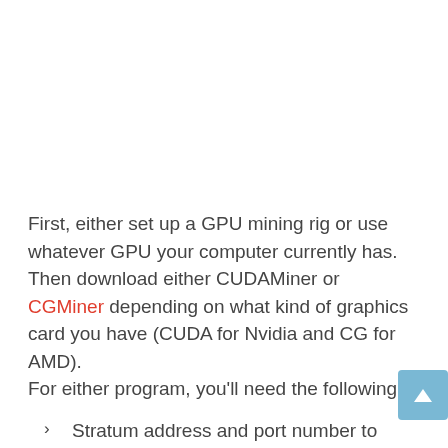First, either set up a GPU mining rig or use whatever GPU your computer currently has. Then download either CUDAMiner or CGMiner depending on what kind of graphics card you have (CUDA for Nvidia and CG for AMD). For either program, you'll need the following:
Stratum address and port number to connect to. (Stratum is a coin mining protocol, and you can think of a Stratum address as a website address. But instead of connecting to a website